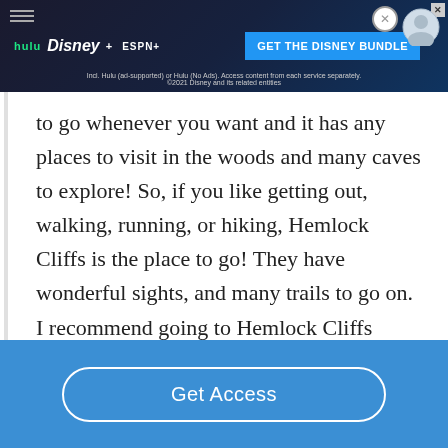[Figure (screenshot): Disney Bundle advertisement banner with Hulu, Disney+, ESPN+ logos and 'GET THE DISNEY BUNDLE' call to action button]
to go whenever you want and it has any places to visit in the woods and many caves to explore! So, if you like getting out, walking, running, or hiking, Hemlock Cliffs is the place to go! They have wonderful sights, and many trails to go on. I recommend going to Hemlock Cliffs because if your have a boring day, your day won't be boring after you go
[Figure (screenshot): Blue paywall bar with 'Get Access' button]